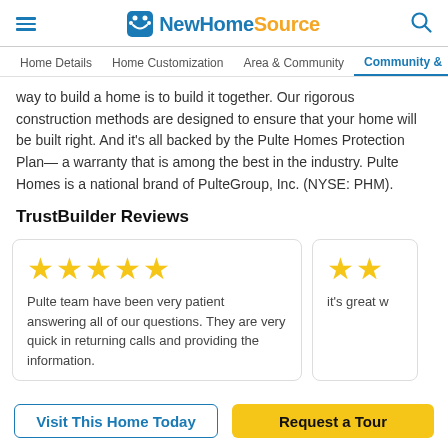NewHomeSource
Home Details | Home Customization | Area & Community | Community &
way to build a home is to build it together. Our rigorous construction methods are designed to ensure that your home will be built right. And it's all backed by the Pulte Homes Protection Plan— a warranty that is among the best in the industry. Pulte Homes is a national brand of PulteGroup, Inc. (NYSE: PHM).
TrustBuilder Reviews
Pulte team have been very patient answering all of our questions. They are very quick in returning calls and providing the information.
it's great w